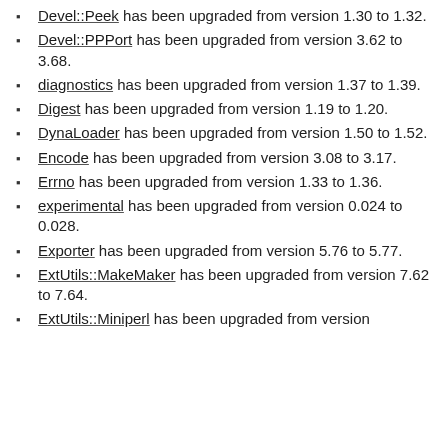Devel::Peek has been upgraded from version 1.30 to 1.32.
Devel::PPPort has been upgraded from version 3.62 to 3.68.
diagnostics has been upgraded from version 1.37 to 1.39.
Digest has been upgraded from version 1.19 to 1.20.
DynaLoader has been upgraded from version 1.50 to 1.52.
Encode has been upgraded from version 3.08 to 3.17.
Errno has been upgraded from version 1.33 to 1.36.
experimental has been upgraded from version 0.024 to 0.028.
Exporter has been upgraded from version 5.76 to 5.77.
ExtUtils::MakeMaker has been upgraded from version 7.62 to 7.64.
ExtUtils::Miniperl has been upgraded from version